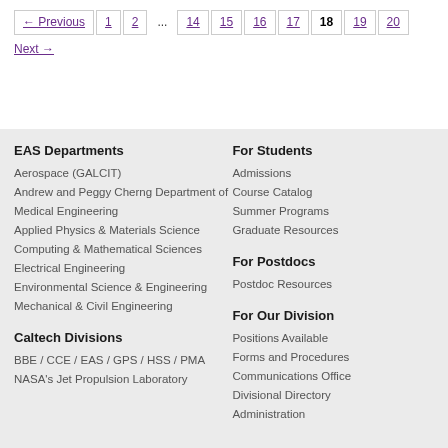← Previous 1 2 ... 14 15 16 17 18 19 20 Next →
EAS Departments
Aerospace (GALCIT)
Andrew and Peggy Cherng Department of Medical Engineering
Applied Physics & Materials Science
Computing & Mathematical Sciences
Electrical Engineering
Environmental Science & Engineering
Mechanical & Civil Engineering
Caltech Divisions
BBE / CCE / EAS / GPS / HSS / PMA
NASA's Jet Propulsion Laboratory
For Students
Admissions
Course Catalog
Summer Programs
Graduate Resources
For Postdocs
Postdoc Resources
For Our Division
Positions Available
Forms and Procedures
Communications Office
Divisional Directory
Administration